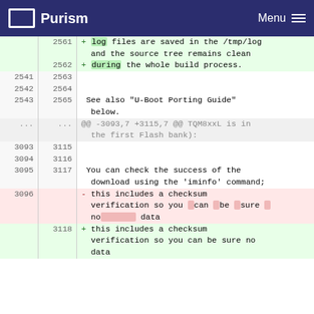Purism | Menu
objects are saved in the /tmp/build,
2561 + log files are saved in the /tmp/log
and the source tree remains clean
2562 + during the whole build process.
2541 2563
2542 2564
2543 2565 See also "U-Boot Porting Guide" below.
... ... @@ -3093,7 +3115,7 @@ TQM8xxL is in the first Flash bank):
3093 3115
3094 3116
3095 3117 You can check the success of the download using the 'iminfo' command;
3096 - this includes a checksum verification so you can be sure no data
3118 + this includes a checksum verification so you can be sure no data